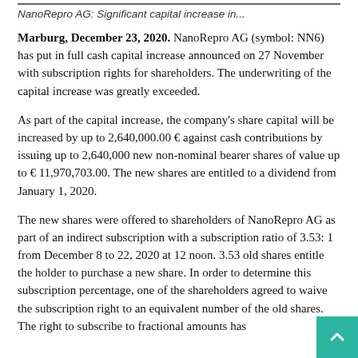NanoRepro AG: Significant capital increase in...
Marburg, December 23, 2020. NanoRepro AG (symbol: NN6) has put in full cash capital increase announced on 27 November with subscription rights for shareholders. The underwriting of the capital increase was greatly exceeded.
As part of the capital increase, the company's share capital will be increased by up to 2,640,000.00 € against cash contributions by issuing up to 2,640,000 new non-nominal bearer shares of value up to € 11,970,703.00. The new shares are entitled to a dividend from January 1, 2020.
The new shares were offered to shareholders of NanoRepro AG as part of an indirect subscription with a subscription ratio of 3.53: 1 from December 8 to 22, 2020 at 12 noon. 3.53 old shares entitle the holder to purchase a new share. In order to determine this subscription percentage, one of the shareholders agreed to waive the subscription right to an equivalent number of the old shares. The right to subscribe to fractional amounts has...